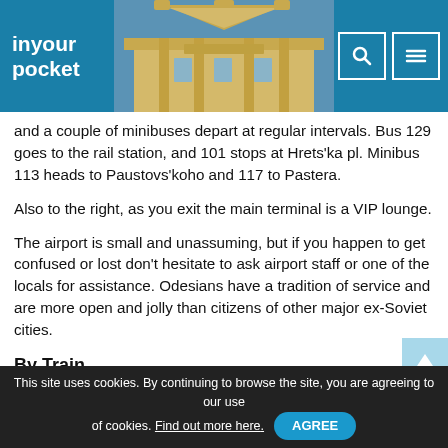in your pocket
[Figure (photo): Architectural facade of a classical building with ornate decorations, viewed from below against a blue sky.]
and a couple of minibuses depart at regular intervals. Bus 129 goes to the rail station, and 101 stops at Hrets'ka pl. Minibus 113 heads to Paustovs'koho and 117 to Pastera.
Also to the right, as you exit the main terminal is a VIP lounge.
The airport is small and unassuming, but if you happen to get confused or lost don't hesitate to ask airport staff or one of the locals for assistance. Odesians have a tradition of service and are more open and jolly than citizens of other major ex-Soviet cities.
By Train
This site uses cookies. By continuing to browse the site, you are agreeing to our use of cookies. Find out more here. AGREE